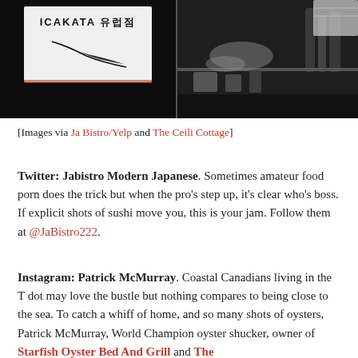[Figure (photo): Two black and white photos side by side: left shows a sign reading 'ICAKATA' with Japanese characters and a swoosh graphic; right shows a kitchen scene with hands and bottles.]
[Images via Ja Bistro/Yelp and The Ceili Cottage]
Twitter: Jabistro Modern Japanese. Sometimes amateur food porn does the trick but when the pro's step up, it's clear who's boss. If explicit shots of sushi move you, this is your jam. Follow them at @JaBistro222.
Instagram: Patrick McMurray. Coastal Canadians living in the T dot may love the bustle but nothing compares to being close to the sea. To catch a whiff of home, and so many shots of oysters, Patrick McMurray, World Champion oyster shucker, owner of Starfish Oyster Bed And Grill and The